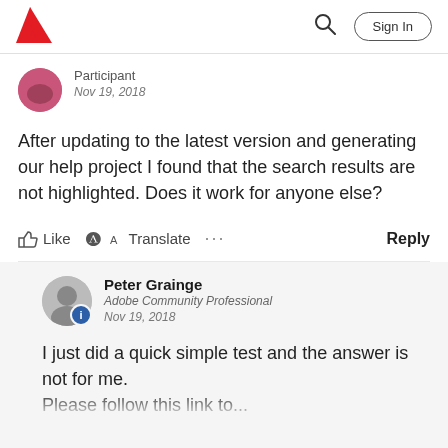Adobe | Sign In
Participant
Nov 19, 2018
After updating to the latest version and generating our help project I found that the search results are not highlighted. Does it work for anyone else?
Like  Translate  ...  Reply
Peter Grainge
Adobe Community Professional
Nov 19, 2018
I just did a quick simple test and the answer is not for me.
Please follow this link to ...